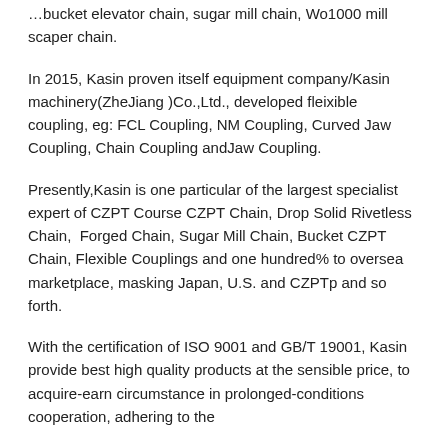…bucket elevator chain, sugar mill chain, Wo1000 mill scaper chain.
In 2015, Kasin proven itself equipment company/Kasin machinery(ZheJiang )Co.,Ltd., developed fleixible coupling, eg: FCL Coupling, NM Coupling, Curved Jaw Coupling, Chain Coupling andJaw Coupling.
Presently,Kasin is one particular of the largest specialist expert of CZPT Course CZPT Chain, Drop Solid Rivetless Chain,  Forged Chain, Sugar Mill Chain, Bucket CZPT Chain, Flexible Couplings and one hundred% to oversea marketplace, masking Japan, U.S. and CZPTp and so forth.
With the certification of ISO 9001 and GB/T 19001, Kasin provide best high quality products at the sensible price, to acquire-earn circumstance in prolonged-conditions cooperation, adhering to the …